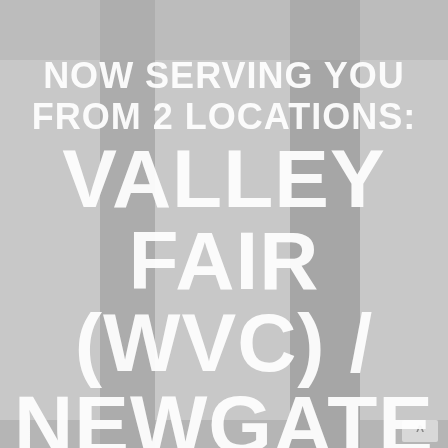[Figure (photo): Faded collage background with vertical grey stripes and partial photos visible at top and bottom, giving a muted grey tone overall.]
NOW SERVING YOU FROM 2 LOCATIONS: Valley Fair (WVC) / Newgate